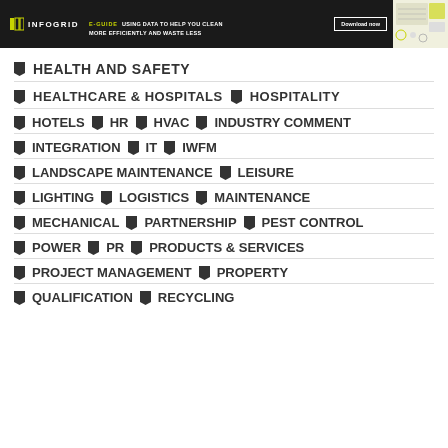INFOGRID | E-GUIDE: USING DATA TO HELP YOU CLEAN MORE EFFICIENTLY AND WASTE LESS | Download now
HEALTH AND SAFETY
HEALTHCARE & HOSPITALS   HOSPITALITY
HOTELS   HR   HVAC   INDUSTRY COMMENT
INTEGRATION   IT   IWFM
LANDSCAPE MAINTENANCE   LEISURE
LIGHTING   LOGISTICS   MAINTENANCE
MECHANICAL   PARTNERSHIP   PEST CONTROL
POWER   PR   PRODUCTS & SERVICES
PROJECT MANAGEMENT   PROPERTY
QUALIFICATION   RECYCLING